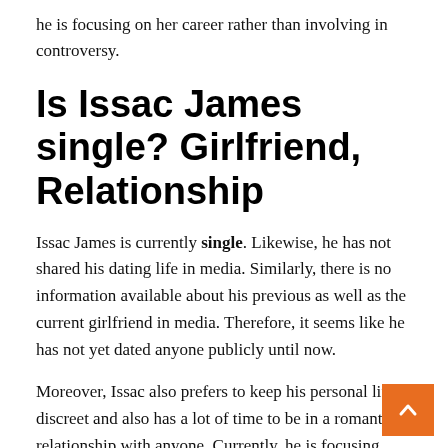he is focusing on her career rather than involving in controversy.
Is Issac James single? Girlfriend, Relationship
Issac James is currently single. Likewise, he has not shared his dating life in media. Similarly, there is no information available about his previous as well as the current girlfriend in media. Therefore, it seems like he has not yet dated anyone publicly until now.
Moreover, Issac also prefers to keep his personal life discreet and also has a lot of time to be in a romantic relationship with anyone. Currently, he is focusing more on his career and social media at present.